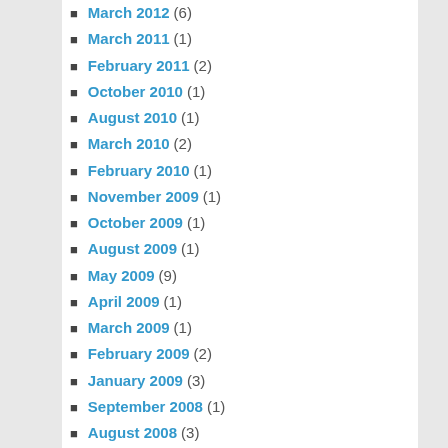March 2012 (6)
March 2011 (1)
February 2011 (2)
October 2010 (1)
August 2010 (1)
March 2010 (2)
February 2010 (1)
November 2009 (1)
October 2009 (1)
August 2009 (1)
May 2009 (9)
April 2009 (1)
March 2009 (1)
February 2009 (2)
January 2009 (3)
September 2008 (1)
August 2008 (3)
July 2008 (17)
CATEGORIES
"Ice House" Moves